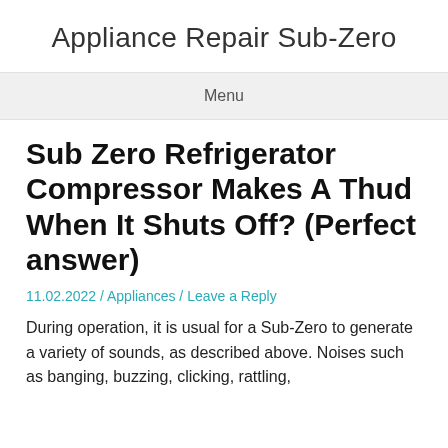Appliance Repair Sub-Zero
Menu
Sub Zero Refrigerator Compressor Makes A Thud When It Shuts Off? (Perfect answer)
11.02.2022 / Appliances / Leave a Reply
During operation, it is usual for a Sub-Zero to generate a variety of sounds, as described above. Noises such as banging, buzzing, clicking, rattling,